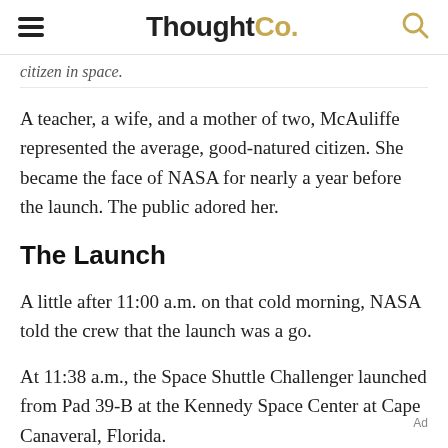ThoughtCo.
citizen in space.
A teacher, a wife, and a mother of two, McAuliffe represented the average, good-natured citizen. She became the face of NASA for nearly a year before the launch. The public adored her.
The Launch
A little after 11:00 a.m. on that cold morning, NASA told the crew that the launch was a go.
At 11:38 a.m., the Space Shuttle Challenger launched from Pad 39-B at the Kennedy Space Center at Cape Canaveral, Florida.
Ad